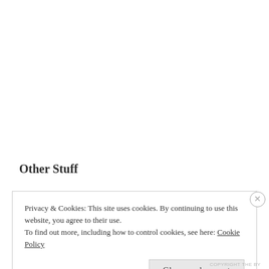Other Stuff
Privacy & Cookies: This site uses cookies. By continuing to use this website, you agree to their use.
To find out more, including how to control cookies, see here: Cookie Policy
Close and accept
COPYRIGHT THE BY